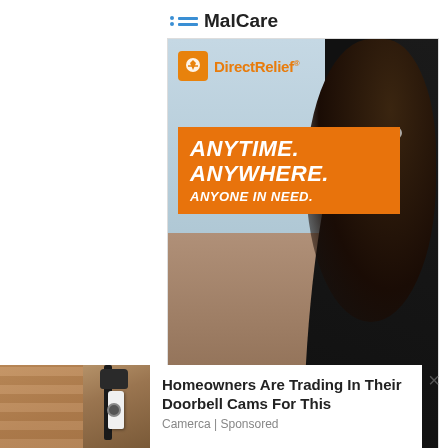MalCare
[Figure (photo): Direct Relief advertisement showing a woman in a black shirt looking over disaster rubble, with text 'ANYTIME. ANYWHERE. ANYONE IN NEED.' on an orange banner, and the Direct Relief logo.]
ezoic   report this ad
[Figure (photo): Security camera mounted on a wall, promotion for Camerca doorbell cam replacement product.]
Homeowners Are Trading In Their Doorbell Cams For This
Camerca | Sponsored